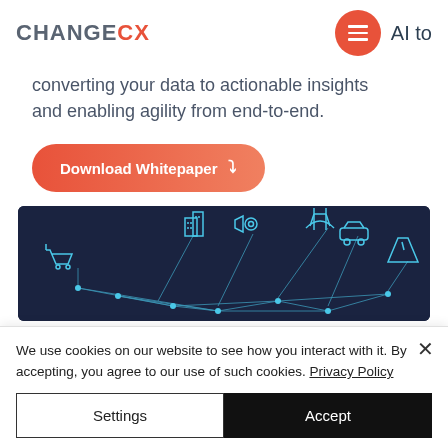CHANGECX | AI to
converting your data to actionable insights and enabling agility from end-to-end.
Download Whitepaper
[Figure (illustration): Dark blue network diagram showing interconnected icons including a shopping cart, buildings, security camera, bridge/towers, car, and road, connected by glowing lines forming a triangulated mesh.]
We use cookies on our website to see how you interact with it. By accepting, you agree to our use of such cookies. Privacy Policy
Settings
Accept